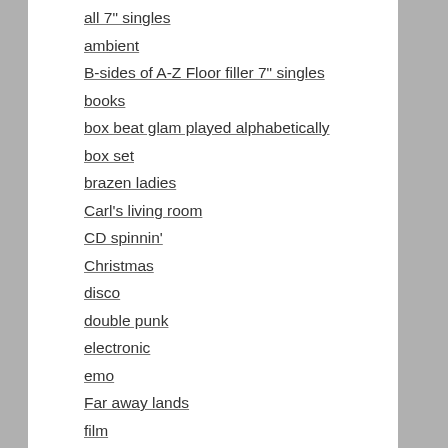all 7" singles
ambient
B-sides of A-Z Floor filler 7" singles
books
box beat glam played alphabetically
box set
brazen ladies
Carl's living room
CD spinnin'
Christmas
disco
double punk
electronic
emo
Far away lands
film
gaussian
hardcore
hip hop